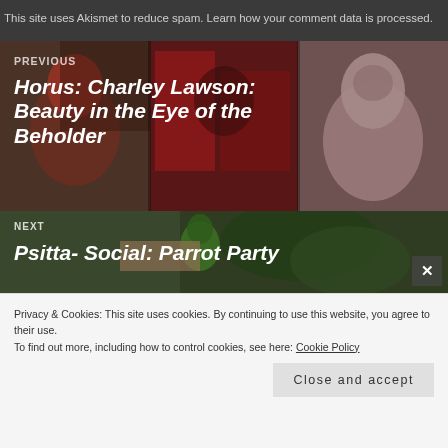This site uses Akismet to reduce spam. Learn how your comment data is processed.
[Figure (photo): Navigation banner showing three bird photos side by side (red parrot, fabric/figure, pink galah), overlaid with PREVIOUS navigation label and article title]
PREVIOUS
Horus: Charley Lawson: Beauty in the Eye of the Beholder
[Figure (photo): Navigation banner showing birds and plants, overlaid with NEXT label and article title beginning Psitta- Social: Parrot Party]
NEXT
Psitta- Social: Parrot Party
Privacy & Cookies: This site uses cookies. By continuing to use this website, you agree to their use.
To find out more, including how to control cookies, see here: Cookie Policy
Close and accept